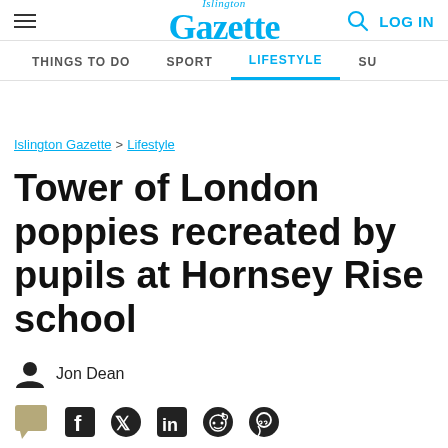Islington Gazette — Navigation header with logo, search, log in, and nav links: THINGS TO DO, SPORT, LIFESTYLE (active), SU…
Islington Gazette > Lifestyle
Tower of London poppies recreated by pupils at Hornsey Rise school
Jon Dean
[Figure (other): Social sharing icons: comment bubble, Facebook, Twitter, LinkedIn, Reddit, WhatsApp]